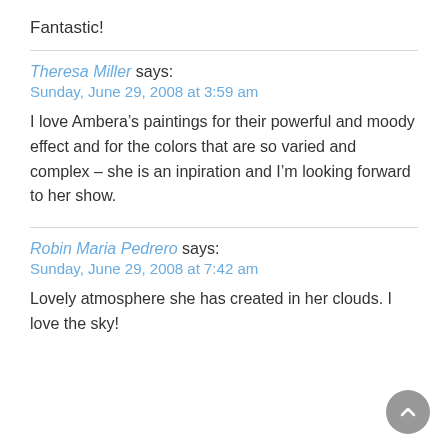Fantastic!
Theresa Miller says:
Sunday, June 29, 2008 at 3:59 am
I love Ambera’s paintings for their powerful and moody effect and for the colors that are so varied and complex – she is an inpiration and I’m looking forward to her show.
Robin Maria Pedrero says:
Sunday, June 29, 2008 at 7:42 am
Lovely atmosphere she has created in her clouds. I love the sky!